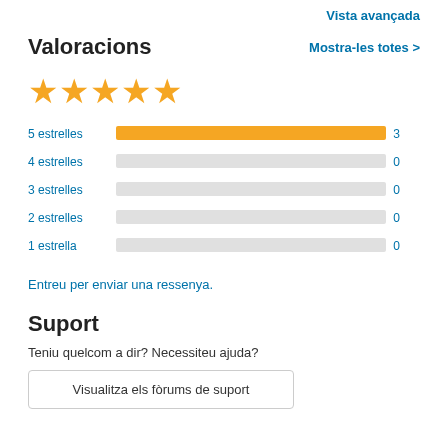Vista avançada
Valoracions
Mostra-les totes >
[Figure (other): 5 yellow stars rating display]
[Figure (bar-chart): Star ratings breakdown]
Entreu per enviar una ressenya.
Suport
Teniu quelcom a dir? Necessiteu ajuda?
Visualitza els fòrums de suport